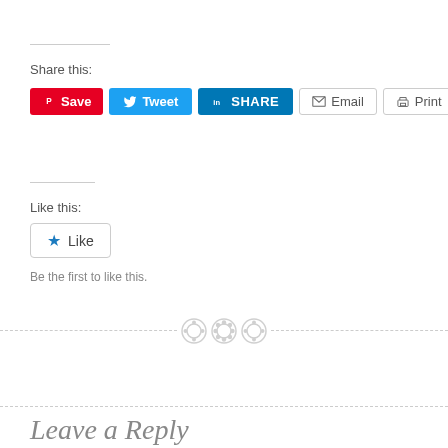Share this:
[Figure (screenshot): Social sharing buttons: Save (Pinterest, red), Tweet (Twitter, blue), SHARE (LinkedIn, dark blue), Email (grey outline), Print (grey outline)]
Like this:
[Figure (screenshot): Like button with blue star icon and 'Like' text, grey border]
Be the first to like this.
[Figure (illustration): Decorative horizontal dashed divider with three grey button/circle icons in the center]
Leave a Reply